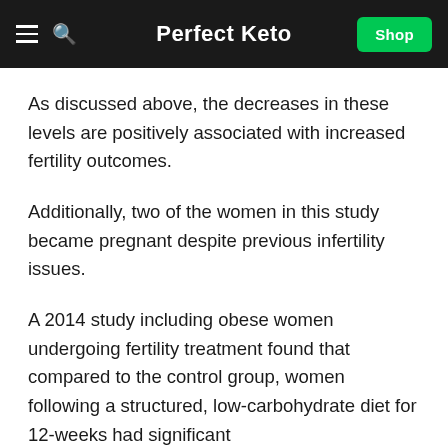Perfect Keto
As discussed above, the decreases in these levels are positively associated with increased fertility outcomes.
Additionally, two of the women in this study became pregnant despite previous infertility issues.
A 2014 study including obese women undergoing fertility treatment found that compared to the control group, women following a structured, low-carbohydrate diet for 12-weeks had significant